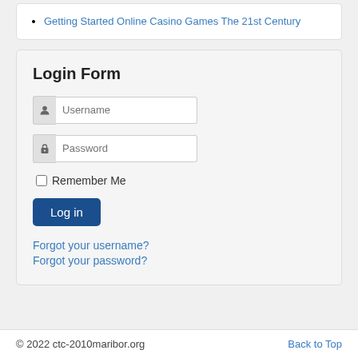Getting Started Online Casino Games The 21st Century
Login Form
[Figure (screenshot): Login form UI with username and password fields, remember me checkbox, log in button, and forgot username/password links]
Forgot your username?
Forgot your password?
© 2022 ctc-2010maribor.org    Back to Top